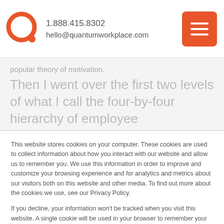1.888.415.8302 hello@quantumworkplace.com
popular theory of motivation.
Then I went over the first two levels of what I call the four-by-four hierarchy of employee
This website stores cookies on your computer. These cookies are used to collect information about how you interact with our website and allow us to remember you. We use this information in order to improve and customize your browsing experience and for analytics and metrics about our visitors both on this website and other media. To find out more about the cookies we use, see our Privacy Policy.

If you decline, your information won't be tracked when you visit this website. A single cookie will be used in your browser to remember your preference not to be tracked.